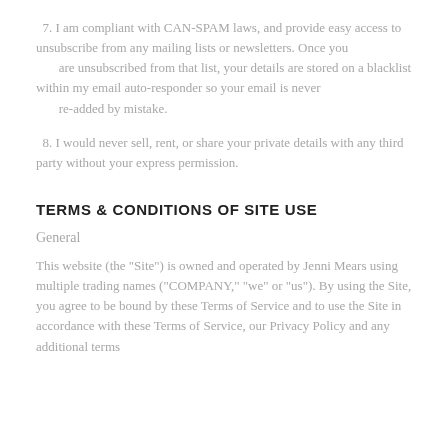7. I am compliant with CAN-SPAM laws, and provide easy access to unsubscribe from any mailing lists or newsletters. Once you are unsubscribed from that list, your details are stored on a blacklist within my email auto-responder so your email is never re-added by mistake.
8. I would never sell, rent, or share your private details with any third party without your express permission.
TERMS & CONDITIONS OF SITE USE
General
This website (the "Site") is owned and operated by Jenni Mears using multiple trading names ("COMPANY," "we" or "us"). By using the Site, you agree to be bound by these Terms of Service and to use the Site in accordance with these Terms of Service, our Privacy Policy and any additional terms